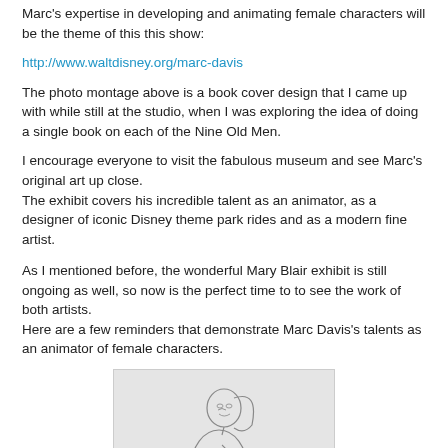Marc's expertise in developing and animating female characters will be the theme of this this show:
http://www.waltdisney.org/marc-davis
The photo montage above is a book cover design that I came up with while still at the studio, when I was exploring the idea of doing a single book on each of the Nine Old Men.
I encourage everyone to visit the fabulous museum and see Marc's original art up close.
The exhibit covers his incredible talent as an animator, as a  designer of iconic Disney theme park rides and as a modern fine artist.
As I mentioned before, the wonderful Mary Blair exhibit is still ongoing as well, so now is the perfect time to to see the work of both artists.
Here are a few reminders that demonstrate Marc Davis's talents as an animator of female characters.
[Figure (illustration): A pencil sketch animation drawing of a female character (likely Cinderella or similar Disney princess) in a dress, with her hands clasped, with annotation lines and notes in the lower right area of the drawing.]